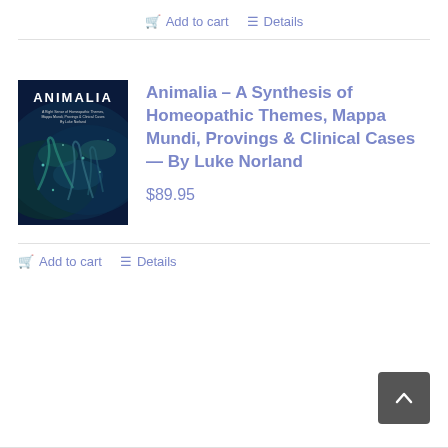Add to cart   Details
[Figure (illustration): Book cover for Animalia showing dark blue/teal ocean scene with marine life and white text reading ANIMALIA at top]
Animalia – A Synthesis of Homeopathic Themes, Mappa Mundi, Provings & Clinical Cases — By Luke Norland
$89.95
Add to cart   Details